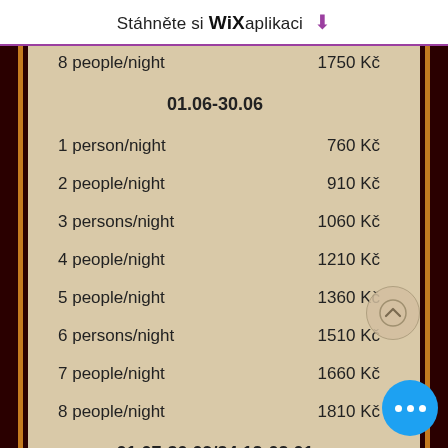Stáhněte si WiX aplikaci ⬇
|  |  |
| --- | --- |
| 8 people/night | 1750 Kč |
| 01.06-30.06 |  |
| 1 person/night | 760 Kč |
| 2 people/night | 910 Kč |
| 3 persons/night | 1060 Kč |
| 4 people/night | 1210 Kč |
| 5 people/night | 1360 Kč |
| 6 persons/night | 1510 Kč |
| 7 people/night | 1660 Kč |
| 8 people/night | 1810 Kč |
| 01.07-30.09/24.12-02.01 |  |
| 1 person/night | 800 Kč |